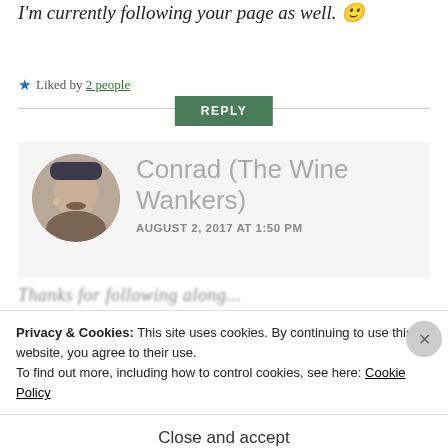I'm currently following your page as well. 🙂
★ Liked by 2 people
REPLY
Conrad (The Wine Wankers)
AUGUST 2, 2017 AT 1:50 PM
Thanks for following along...
Privacy & Cookies: This site uses cookies. By continuing to use this website, you agree to their use.
To find out more, including how to control cookies, see here: Cookie Policy
Close and accept